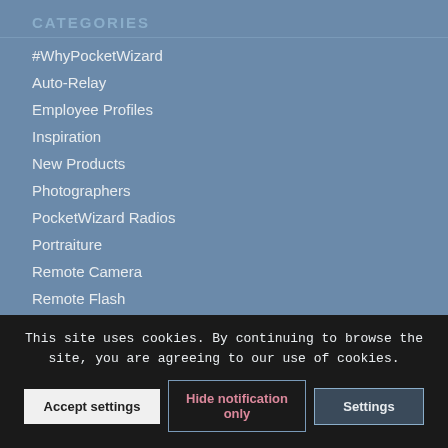CATEGORIES
#WhyPocketWizard
Auto-Relay
Employee Profiles
Inspiration
New Products
Photographers
PocketWizard Radios
Portraiture
Remote Camera
Remote Flash
Sports Photography
Tips and Tricks
Tradeshows
This site uses cookies. By continuing to browse the site, you are agreeing to our use of cookies.
Accept settings | Hide notification only | Settings